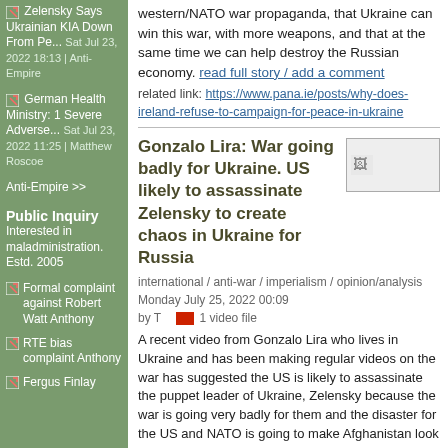Zelensky Says Ukrainian KIA Down From Pe... Sat Jul 23, 2022 18:13 | Anti-Empire
German Health Ministry: 1 Severe Adverse... Sat Jul 23, 2022 11:25 | Matthew Roscoe
Anti-Empire >>
Public Inquiry
Interested in maladministration. Estd. 2005
Formal complaint against Robert Watt Anthony
RTE bias complaint Anthony
Fergus Finlay
western/NATO war propaganda, that Ukraine can win this war, with more weapons, and that at the same time we can help destroy the Russian economy. read full story / add a comment
related link: https://www.pana.ie/posts/why-does-ireland-refuse-to-campaign-for-peace-in-ukraine
Gonzalo Lira: War going badly for Ukraine. US likely to assassinate Zelensky to create chaos in Ukraine for Russia
international / anti-war / imperialism / opinion/analysis  Monday July 25, 2022 00:09 by T   1 video file
A recent video from Gonzalo Lira who lives in Ukraine and has been making regular videos on the war has suggested the US is likely to assassinate the puppet leader of Ukraine, Zelensky because the war is going very badly for them and the disaster for the US and NATO is going to make Afghanistan look mild. They need to turn the tables and generate as much chaos and problems as possible in Ukraine so as to dump it at the feet of Russia and hope that it bleeds them dry.